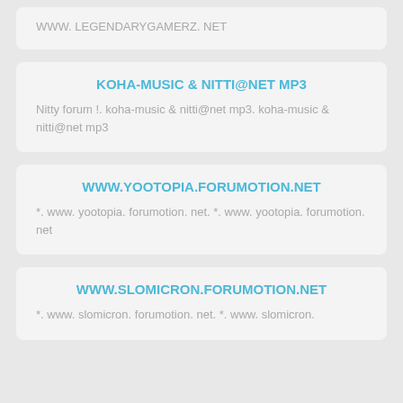WWW. LEGENDARYGAMERZ. NET
KOHA-MUSIC & NITTI@NET MP3
Nitty forum !. koha-music & nitti@net mp3. koha-music & nitti@net mp3
WWW.YOOTOPIA.FORUMOTION.NET
*. www. yootopia. forumotion. net. *. www. yootopia. forumotion. net
WWW.SLOMICRON.FORUMOTION.NET
*. www. slomicron. forumotion. net. *. www. slomicron.